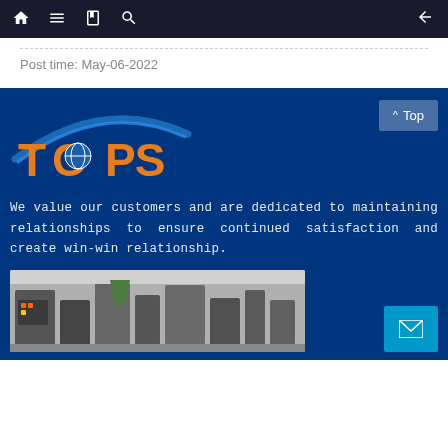Navigation bar with home, menu, book, search, and back icons
Post time: May-06-2022
[Figure (logo): TOPS company logo with blue arc and orange bold letters on dark blue background]
We value our customers and are dedicated to maintaining relationships to ensure continued satisfaction and create win-win relationship.
[Figure (photo): Industrial packaging/filling machinery in a factory setting]